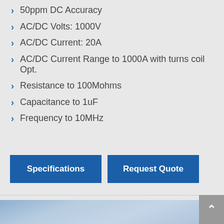50ppm DC Accuracy
AC/DC Volts: 1000V
AC/DC Current: 20A
AC/DC Current Range to 1000A with turns coil Opt.
Resistance to 100Mohms
Capacitance to 1uF
Frequency to 10MHz
[Figure (other): Two blue call-to-action buttons: 'Specifications' and 'Request Quote']
[Figure (photo): Blue sky or blue gradient background photo at the bottom of the page]